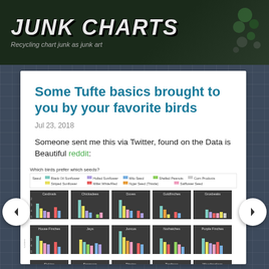[Figure (screenshot): Junk Charts blog header banner with graffiti-style title 'JUNK CHARTS' and subtitle 'Recycling chart junk as junk art']
Some Tufte basics brought to you by your favorite birds
Jul 23, 2018
Someone sent me this via Twitter, found on the Data is Beautiful reddit:
[Figure (grouped-bar-chart): Small multiples bar chart titled 'Which birds prefer which seeds?' showing multiple bird species (Cardinals, Chickadees, Doves, Goldfinches, Grosbeaks, House Finches, Jays, Juncos, Nuthatches, Purple Finches, Siskins, Sparrows, Titmice, Towhees, Woodpeckers) and their seed preferences across categories: Black Oil Sunflower, Hulled Sunflower, Milo Seed, Shelled Peanuts, Corn Products, Striped Sunflower, Millet White/Red, Nyjer Seed (Thistle), Safflower Seed]